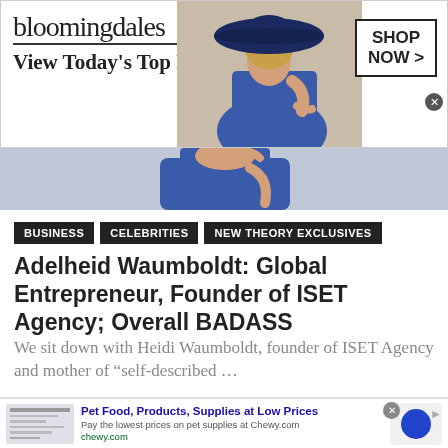[Figure (screenshot): Bloomingdale's advertisement banner with model wearing blue hat. Text reads: bloomingdales, View Today's Top Deals!, SHOP NOW > with close button.]
[Figure (photo): Partial photo of woman in blue dress, cropped.]
BUSINESS
CELEBRITIES
NEW THEORY EXCLUSIVES
Adelheid Waumboldt: Global Entrepreneur, Founder of ISET Agency; Overall BADASS
We sit down with Heidi Waumboldt, founder of ISET Agency and mother of “self-described …
[Figure (screenshot): Bottom advertisement: Pet Food, Products, Supplies at Low Prices. Pay the lowest prices on pet supplies at Chewy.com. chewy.com. Shows Chewy logo circle.]